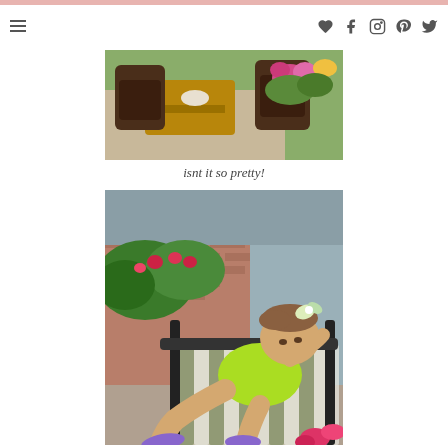Navigation header with hamburger menu and social icons
[Figure (photo): Outdoor patio scene with dark wicker chairs, a wooden table, and colorful flowers on a green lawn]
isnt it so pretty!
[Figure (photo): A toddler girl in a neon green romper with a white bow in her hair, reclining on a patio chair with a striped cushion, wearing purple flip flops, with brick wall and flowering bushes in background]